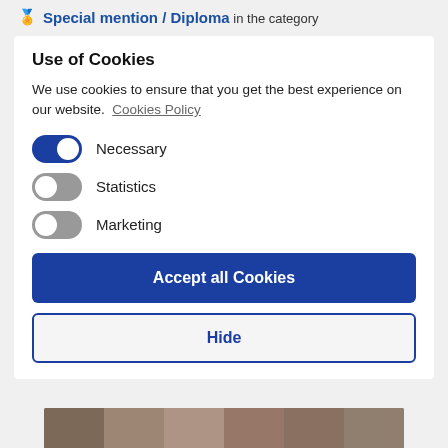🏅 Special mention / Diploma in the category
Use of Cookies
We use cookies to ensure that you get the best experience on our website. Cookies Policy
Necessary (toggle on)
Statistics (toggle off)
Marketing (toggle off)
Accept all Cookies
Hide
[Figure (photo): Bottom strip showing faces/people photo]